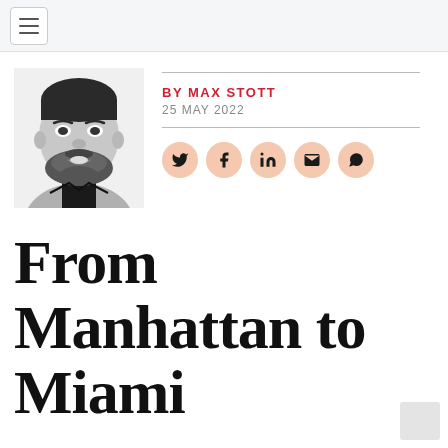Navigation menu
[Figure (photo): Black and white headshot photo of Max Stott, a man with short dark hair and a beard, smiling, wearing a black t-shirt]
BY MAX STOTT
25 MAY 2022
[Figure (infographic): Social share icons: Twitter, Facebook, LinkedIn, Email, WhatsApp — circular peach/salmon colored buttons with dark icons]
From Manhattan to Miami